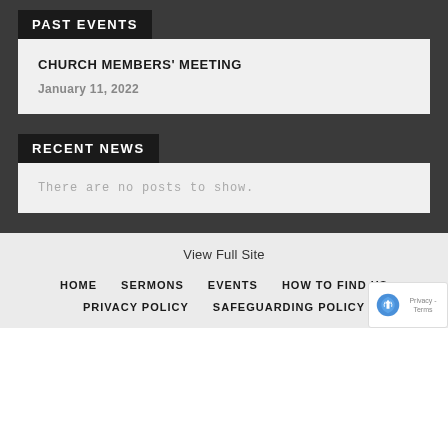PAST EVENTS
CHURCH MEMBERS' MEETING
January 11, 2022
RECENT NEWS
There are no posts to show.
View Full Site
HOME   SERMONS   EVENTS   HOW TO FIND US   PRIVACY POLICY   SAFEGUARDING POLICY